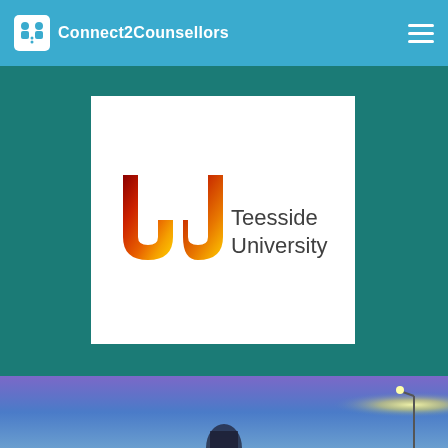Connect2Counsellors
[Figure (logo): Teesside University logo on white card background, with a stylized U-shape in red/orange/yellow flame colors on the left and 'Teesside University' text in dark gray on the right]
[Figure (photo): Bottom strip showing a night sky blue/purple background with a person silhouette and a lamp with a bright glow on the right side]